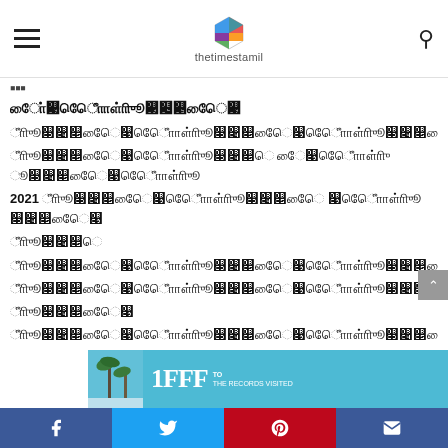thetimestamil
Tamil language article text with 2021 reference
[Figure (screenshot): Partial advertisement banner with palm trees and text on blue background]
Social sharing bar: Facebook, Twitter, Pinterest, Email